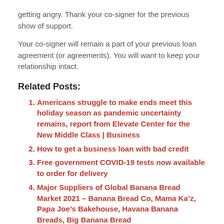getting angry. Thank your co-signer for the previous show of support.
Your co-signer will remain a part of your previous loan agreement (or agreements). You will want to keep your relationship intact.
Related Posts:
Americans struggle to make ends meet this holiday season as pandemic uncertainty remains, report from Elevate Center for the New Middle Class | Business
How to get a business loan with bad credit
Free government COVID-19 tests now available to order for delivery
Major Suppliers of Global Banana Bread Market 2021 – Banana Bread Co, Mama Ka'z, Papa Joe's Bakehouse, Havana Banana Breads, Big Banana Bread